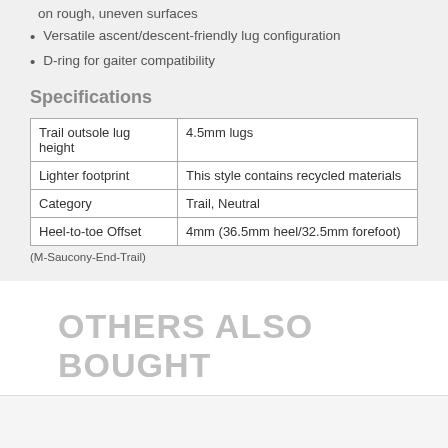on rough, uneven surfaces
Versatile ascent/descent-friendly lug configuration
D-ring for gaiter compatibility
Specifications
| Trail outsole lug height | 4.5mm lugs |
| Lighter footprint | This style contains recycled materials |
| Category | Trail, Neutral |
| Heel-to-toe Offset | 4mm (36.5mm heel/32.5mm forefoot) |
(M-Saucony-End-Trail)
OTHERS ALSO BOUGHT
[Figure (other): Product listing area with SALE badge, color swatches (light blue, blue, gray), and product name Hoka Bondi 7 - Mens Running]